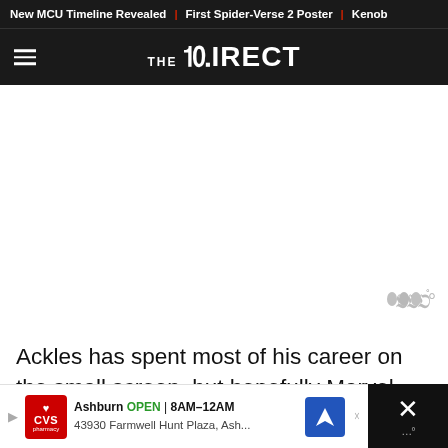New MCU Timeline Revealed | First Spider-Verse 2 Poster | Kenob
THE DIRECT
[Figure (other): Blank white advertisement placeholder area with weather-style icon in bottom right corner]
Ackles has spent most of his career on the small screen, but hopefully Marvel still has him in the back of their minds if they need another fa
[Figure (other): CVS Pharmacy local ad banner showing Ashburn location OPEN 8AM-12AM at 43930 Farmwell Hunt Plaza, Ash... with navigation arrow icon and close button]